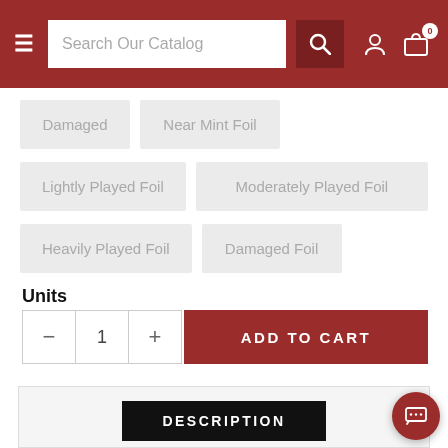Search Our Catalog
Damaged
Near Mint Foil
Lightly Played Foil
Moderately Played Foil
Heavily Played Foil
Damaged Foil
Units
- 1 +
ADD TO CART
DESCRIPTION
| Set: | Zendikar |
| --- | --- |
| Set: | Zendikar |